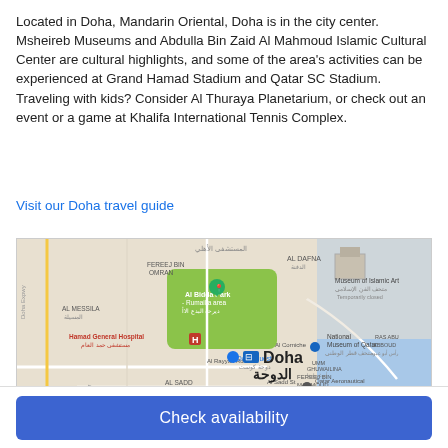Located in Doha, Mandarin Oriental, Doha is in the city center. Msheireb Museums and Abdulla Bin Zaid Al Mahmoud Islamic Cultural Center are cultural highlights, and some of the area's activities can be experienced at Grand Hamad Stadium and Qatar SC Stadium. Traveling with kids? Consider Al Thuraya Planetarium, or check out an event or a game at Khalifa International Tennis Complex.
Visit our Doha travel guide
[Figure (map): Google Maps showing Doha city center area with landmarks including Hamad General Hospital, Al Bidda Park - Rumailla area, Museum of Islamic Art, National Museum of Qatar, Doha Quest, Mirqab Mall, Qatar Aeronautical Academy, and a hotel pin for Mandarin Oriental Doha. The map shows street names including Al Rayyan Rd, Al Sadd St, B Ring Rd, and Al Corniche.]
Check availability